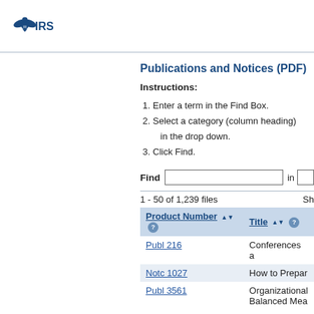[Figure (logo): IRS eagle logo with text IRS]
Publications and Notices (PDF)
Instructions:
Enter a term in the Find Box.
Select a category (column heading) in the drop down.
Click Find.
Find [input box] in [dropdown]
1 - 50 of 1,239 files   Sh
| Product Number | Title |
| --- | --- |
| Publ 216 | Conferences a |
| Notc 1027 | How to Prepar |
| Publ 3561 | Organizational Balanced Mea |